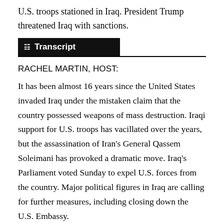U.S. troops stationed in Iraq. President Trump threatened Iraq with sanctions.
Transcript
RACHEL MARTIN, HOST:
It has been almost 16 years since the United States invaded Iraq under the mistaken claim that the country possessed weapons of mass destruction. Iraqi support for U.S. troops has vacillated over the years, but the assassination of Iran's General Qassem Soleimani has provoked a dramatic move. Iraq's Parliament voted Sunday to expel U.S. forces from the country. Major political figures in Iraq are calling for further measures, including closing down the U.S. Embassy.
NERI: Iraq...